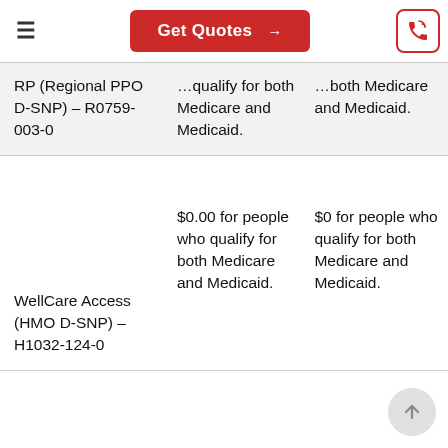Get Quotes →
| Plan | Premium |  |
| --- | --- | --- |
| RP (Regional PPO D-SNP) – R0759-003-0 | ...qualify for both Medicare and Medicaid. | ...both Medicare and Medicaid. |
| WellCare Access (HMO D-SNP) – H1032-124-0 | $0.00 for people who qualify for both Medicare and Medicaid. | $0 for people who qualify for both Medicare and Medicaid. |